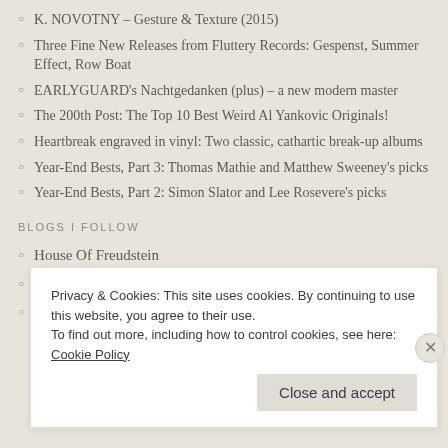K. NOVOTNY – Gesture & Texture (2015)
Three Fine New Releases from Fluttery Records: Gespenst, Summer Effect, Row Boat
EARLYGUARD's Nachtgedanken (plus) – a new modern master
The 200th Post: The Top 10 Best Weird Al Yankovic Originals!
Heartbreak engraved in vinyl: Two classic, cathartic break-up albums
Year-End Bests, Part 3: Thomas Mathie and Matthew Sweeney's picks
Year-End Bests, Part 2: Simon Slator and Lee Rosevere's picks
BLOGS I FOLLOW
House Of Freudstein
A Folk Song a Week
On Books On Music
Privacy & Cookies: This site uses cookies. By continuing to use this website, you agree to their use.
To find out more, including how to control cookies, see here: Cookie Policy
Close and accept